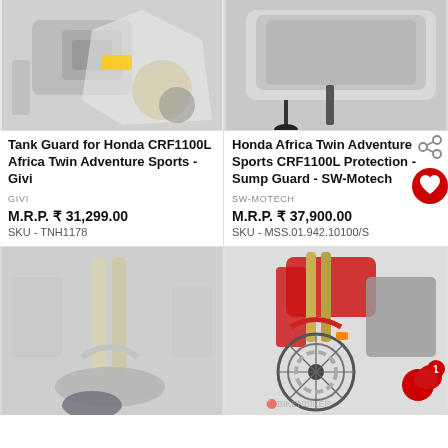[Figure (photo): Motorcycle tank/engine guard closeup on Honda CRF1100L Africa Twin - left product image]
[Figure (photo): Motorcycle sump guard underside view on Honda Africa Twin - right product image]
Tank Guard for Honda CRF1100L Africa Twin Adventure Sports - Givi
Honda Africa Twin Adventure Sports CRF1100L Protection - Sump Guard - SW-Motech
GIVI
SW-MOTECH
M.R.P. ₹ 31,299.00
M.R.P. ₹ 37,900.00
SKU - TNH1178
SKU - MSS.01.942.10100/S
[Figure (photo): Motorcycle front fork and wheel closeup - faded/watermarked style]
[Figure (photo): Red Honda CRF motorcycle front wheel and engine area with BIKENBIKER watermark]